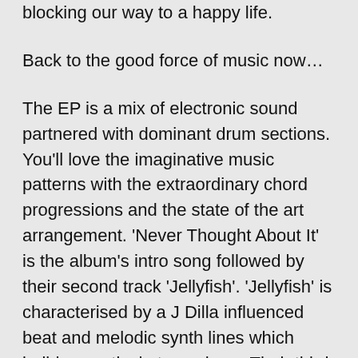blocking our way to a happy life.
Back to the good force of music now…
The EP is a mix of electronic sound partnered with dominant drum sections. You'll love the imaginative music patterns with the extraordinary chord progressions and the state of the art arrangement. 'Never Thought About It' is the album's intro song followed by their second track 'Jellyfish'. 'Jellyfish' is characterised by a J Dilla influenced beat and melodic synth lines which build a mystical atmosphere. Their third song, 'Good Wolf Bad Wolf, is downtempo and the only one vocal- driven and as a result, melody-driven, with heavily processed vocals. Coming up next, 'Good Demon' balances between nu jazz and electronica giving out a feeling that it was